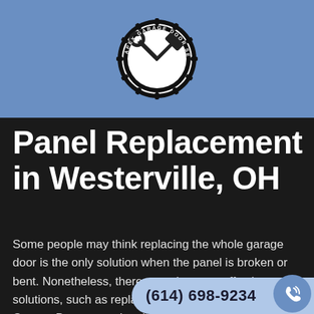[Figure (logo): Apex Garage Door Service Quality circular badge logo with crossed hammer and wrench tools in the center]
Panel Replacement in Westerville, OH
Some people may think replacing the whole garage door is the only solution when the panel is broken or bent. Nonetheless, there are other cost-effective solutions, such as replacing the panel. At Apex Garage Door exceptional solutions that fit your needs an...
(614) 698-9234